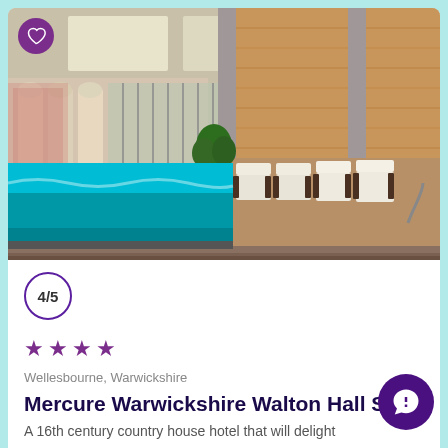[Figure (photo): Indoor swimming pool with turquoise water, lounge chairs along the side, wooden wall panels, and glass windows/doors in background. Heart/favourite button in top-left corner.]
4/5
★ ★ ★ ★
Wellesbourne, Warwickshire
Mercure Warwickshire Walton Hall Sp
A 16th century country house hotel that will delight